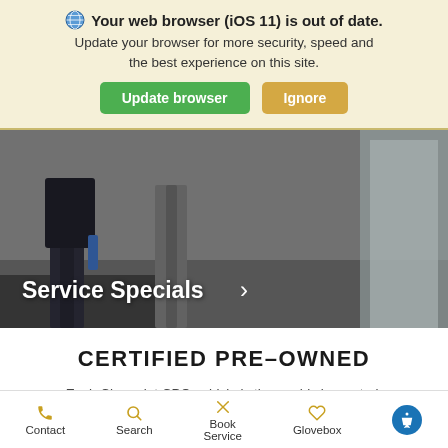Your web browser (iOS 11) is out of date. Update your browser for more security, speed and the best experience on this site.
[Figure (screenshot): Hero image of a car dealership interior showing people walking past stacked tires, with a 'Service Specials >' overlay text in white]
CERTIFIED PRE-OWNED
Each Chevrolet CPO vehicle is thoroughly inspected, reconditioned, and includes two factory-backed limited warranties with roadside
Contact  Search  Book Service  Glovebox  (accessibility icon)